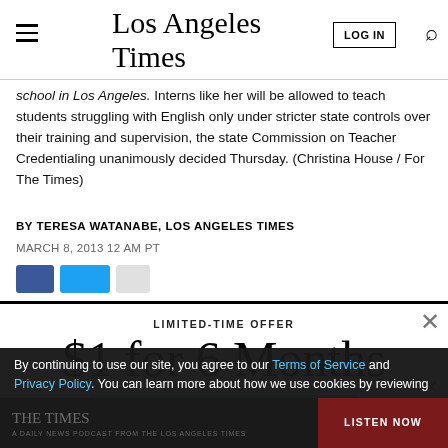Los Angeles Times
school in Los Angeles. Interns like her will be allowed to teach students struggling with English only under stricter state controls over their training and supervision, the state Commission on Teacher Credentialing unanimously decided Thursday. (Christina House / For The Times)
BY TERESA WATANABE, LOS ANGELES TIMES
MARCH 8, 2013 12 AM PT
LIMITED-TIME OFFER
$1 for 6 Months
SUBSCRIBE NOW
By continuing to use our site, you agree to our Terms of Service and Privacy Policy. You can learn more about how we use cookies by reviewing our Privacy Policy. Close